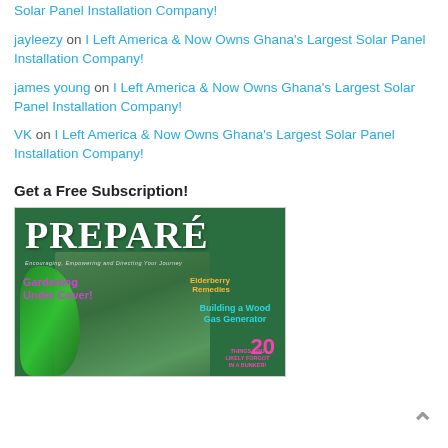Solar Panel Installation Company!
jayleezy on I Left America & Now Owns Ghana's Largest Solar Panel Installation Company!
james young on I Left America & Now Owns Ghana's Largest Solar Panel Installation Company!
VK on I Left America & Now Owns Ghana's Largest Solar Panel Installation Company!
Get a Free Subscription!
[Figure (photo): Cover of PREPARE magazine showing a person in a garden/nature setting with text about Gardening Under Cover, Elderberry Remedies, Building a Wood Gas Generator, and 20 Things You Likely Forgot in a Bunker.]